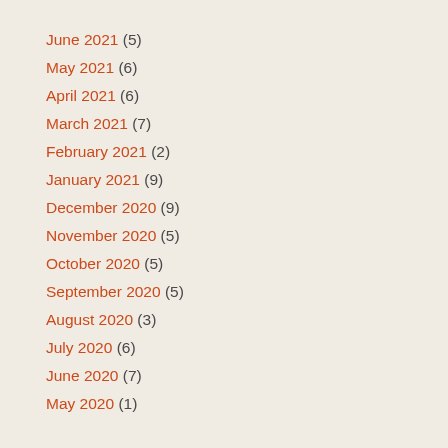June 2021 (5)
May 2021 (6)
April 2021 (6)
March 2021 (7)
February 2021 (2)
January 2021 (9)
December 2020 (9)
November 2020 (5)
October 2020 (5)
September 2020 (5)
August 2020 (3)
July 2020 (6)
June 2020 (7)
May 2020 (1)